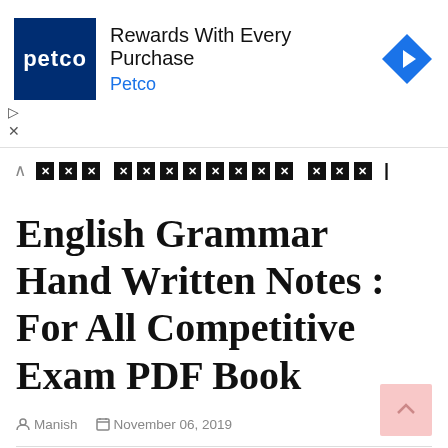[Figure (screenshot): Petco advertisement banner with navy blue Petco logo on left, text 'Rewards With Every Purchase' and 'Petco' in blue, and a blue diamond navigation icon on the right]
| ☒☒ ☒☒☒☒☒☒ ☒☒☒ |
English Grammar Hand Written Notes : For All Competitive Exam PDF Book
Manish  November 06, 2019